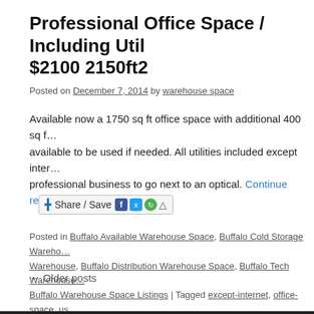Professional Office Space / Including Util… $2100 2150ft2
Posted on December 7, 2014 by warehouse space
Available now a 1750 sq ft office space with additional 400 sq f… available to be used if needed. All utilities included except inter… professional business to go next to an optical. Continue reading…
[Figure (other): Share / Save social sharing button with Facebook, Twitter, and other icons]
Posted in Buffalo Available Warehouse Space, Buffalo Cold Storage Wareho… Warehouse, Buffalo Distribution Warehouse Space, Buffalo Tech Warehouse… Buffalo Warehouse Space Listings | Tagged except-internet, office-space, us… comment
← Older posts